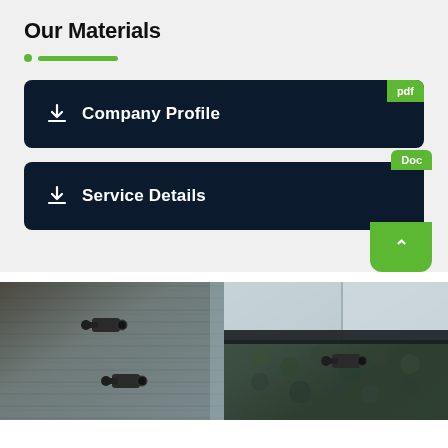Our Materials
Company Profile (pdf download)
Service Details (Doc download)
[Figure (photo): Two side-by-side photos of security cameras mounted on building exteriors — left shows a camera on a dark textured wall, right shows a camera on a wall with green plant coverage]